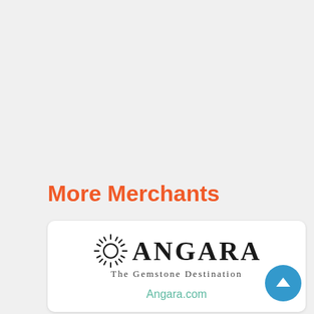More Merchants
[Figure (logo): Angara - The Gemstone Destination logo with sun/star burst icon to the left of the ANGARA text]
Angara.com